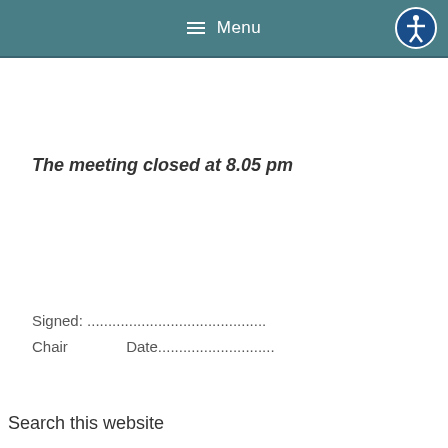Menu
The meeting closed at 8.05 pm
Signed: ................................................... Chair                Date............................
Search this website